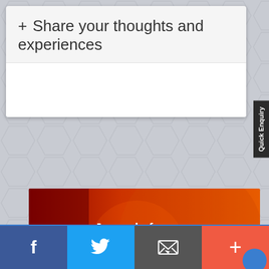+ Share your thoughts and experiences
[Figure (screenshot): Journal of Cardiovascular Medicine and Surgery journal cover image with red/orange gradient background and white text]
Submit your next article Peertechz Publications, also join of our fulfilled creators.
[Figure (other): Social media bar with Facebook, Twitter, Email, and Plus buttons]